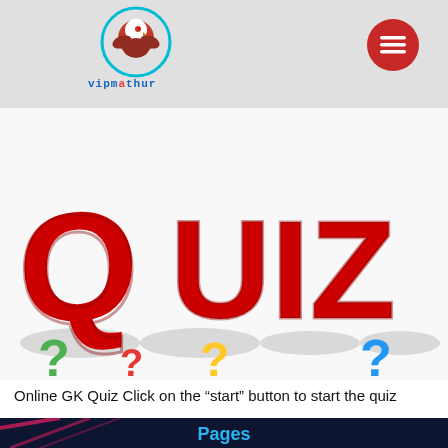vipmathur (logo with bird icon and menu button)
[Figure (screenshot): 3D red QUIZ text with colorful question marks (green, red, yellow, blue) on white background]
Online GK Quiz Click on the “start” button to start the quiz
[Figure (screenshot): Dark navy background with diagonal red/pink light streaks, 'Pages' text in cyan/blue bold font, and a dark red rounded square icon with hamburger menu lines]